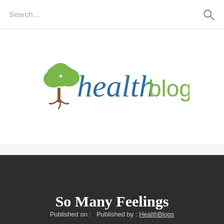Search...
[Figure (logo): HealthBlogs logo: green tree icon with 'health' in blue italic script and 'blogs' in green sans-serif]
[Figure (other): Hamburger menu icon with three horizontal lines]
So Many Feelings
Published on :   Published by : HealthBlogs